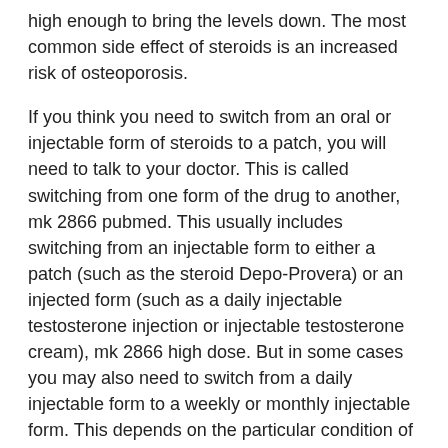high enough to bring the levels down. The most common side effect of steroids is an increased risk of osteoporosis.
If you think you need to switch from an oral or injectable form of steroids to a patch, you will need to talk to your doctor. This is called switching from one form of the drug to another, mk 2866 pubmed. This usually includes switching from an injectable form to either a patch (such as the steroid Depo-Provera) or an injected form (such as a daily injectable testosterone injection or injectable testosterone cream), mk 2866 high dose. But in some cases you may also need to switch from a daily injectable form to a weekly or monthly injectable form. This depends on the particular condition of your condition. Your doctor can help you select an injectable form and dosage for you, mk 2866 for bulking.
If you are not sure whether the injection...